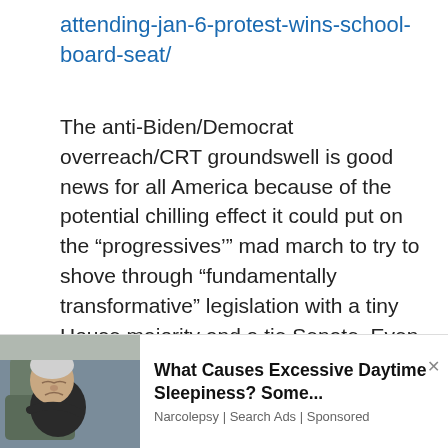attending-jan-6-protest-wins-school-board-seat/
The anti-Biden/Democrat overreach/CRT groundswell is good news for all America because of the potential chilling effect it could put on the “progressives’” mad march to try to shove through “fundamentally transformative” legislation with a tiny House majority and a tie Senate. Even former Obama adviser David Axelrod admitted that seeing such a massive grassroots
[Figure (photo): Advertisement showing an elderly man sleeping in a chair, with text 'What Causes Excessive Daytime Sleepiness? Some...' and attribution 'Narcolepsy | Search Ads | Sponsored']